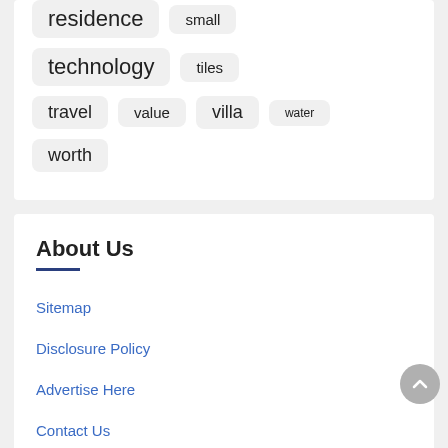residence
small
technology
tiles
travel
value
villa
water
worth
About Us
Sitemap
Disclosure Policy
Advertise Here
Contact Us